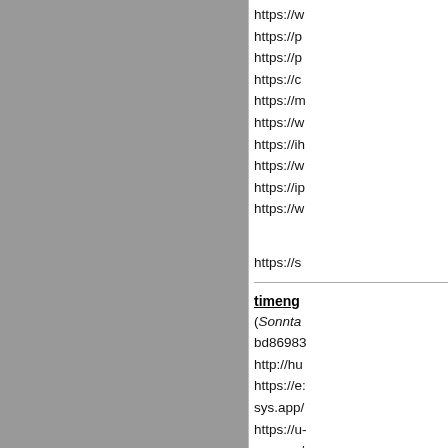https://w
https://p
https://p
https://c
https://m
https://w
https://ih
https://w
https://ip
https://w
https://s
timeng
(Sonnta
bd86983
http://hu
https://e:
sys.app/
https://u-
ssr.com/
https://...